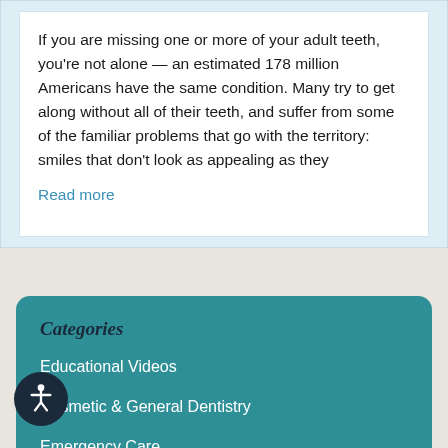If you are missing one or more of your adult teeth, you're not alone — an estimated 178 million Americans have the same condition. Many try to get along without all of their teeth, and suffer from some of the familiar problems that go with the territory: smiles that don't look as appealing as they
Read more
Categories
Educational Videos
Cosmetic & General Dentistry
Emergency Care
odontics